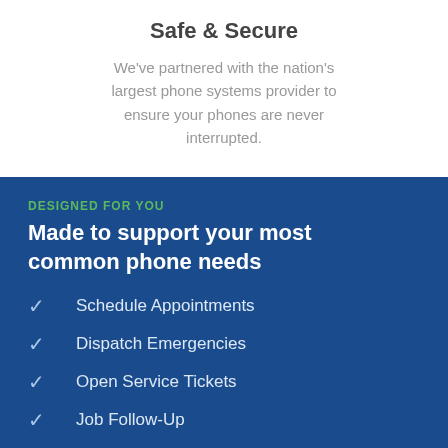Safe & Secure
We've partnered with the nation's largest phone systems provider to ensure your phones are never interrupted.
DESIGNED FOR YOU
Made to support your most common phone needs
Schedule Appointments
Dispatch Emergencies
Open Service Tickets
Job Follow-Up
Lead Capture